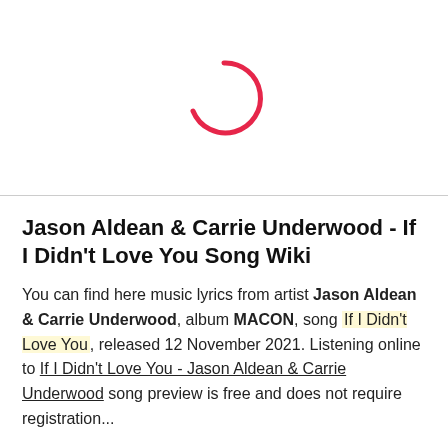[Figure (other): Pink loading spinner (partial circle arc) centered in the upper portion of the page]
Jason Aldean & Carrie Underwood - If I Didn't Love You Song Wiki
You can find here music lyrics from artist Jason Aldean & Carrie Underwood, album MACON, song If I Didn't Love You, released 12 November 2021. Listening online to If I Didn't Love You - Jason Aldean & Carrie Underwood song preview is free and does not require registration...